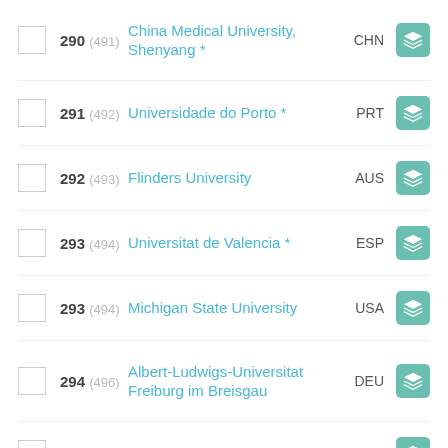290 (491) China Medical University, Shenyang * CHN
291 (492) Universidade do Porto * PRT
292 (493) Flinders University AUS
293 (494) Universitat de Valencia * ESP
293 (494) Michigan State University USA
294 (496) Albert-Ludwigs-Universitat Freiburg im Breisgau DEU
294 (496) Nagoya University * JPN